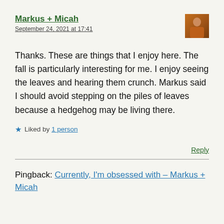Markus + Micah
September 24, 2021 at 17:41
[Figure (photo): Small avatar photo of a person in an orange/red shirt outdoors]
Thanks. These are things that I enjoy here. The fall is particularly interesting for me. I enjoy seeing the leaves and hearing them crunch. Markus said I should avoid stepping on the piles of leaves because a hedgehog may be living there.
Liked by 1 person
Reply
Pingback: Currently, I'm obsessed with – Markus + Micah